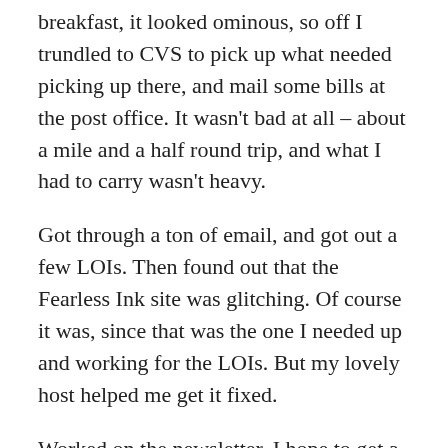breakfast, it looked ominous, so off I trundled to CVS to pick up what needed picking up there, and mail some bills at the post office. It wasn't bad at all – about a mile and a half round trip, and what I had to carry wasn't heavy.
Got through a ton of email, and got out a few LOIs. Then found out that the Fearless Ink site was glitching. Of course it was, since that was the one I needed up and working for the LOIs. But my lovely host helped me get it fixed.
Worked on the newsletter. I hope to get a test out later today, and then send out the newsletter either tomorrow or Friday. If you haven't signed up yet, you can do so here.
I'd gotten a good bit of work done on the outline for The Big Project (at least the details of the first third's arc; the piece has three major arcs, loading into each other, not in